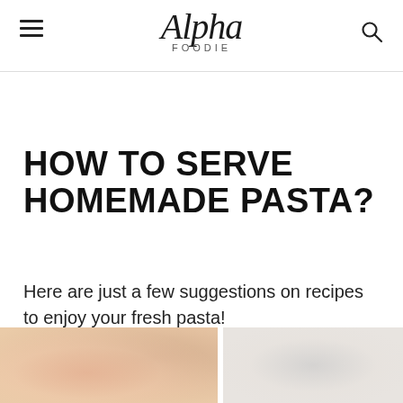Alpha Foodie
HOW TO SERVE HOMEMADE PASTA?
Here are just a few suggestions on recipes to enjoy your fresh pasta!
[Figure (photo): Two food photos side by side at the bottom of the page, partially cropped. Left image shows pasta dish with warm tones. Right image shows a pasta dish in a bowl.]